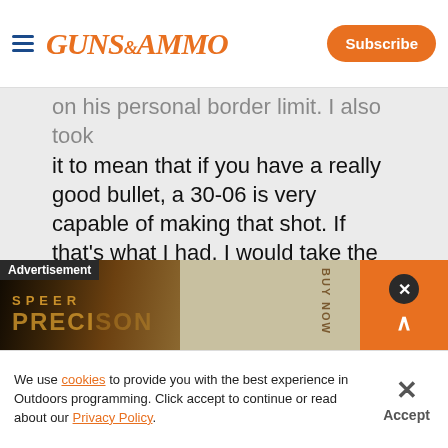GUNS&AMMO — Subscribe
on his personal border limit. I also took it to mean that if you have a really good bullet, a 30-06 is very capable of making that shot. If that's what I had, I would take the shot. However, as I said in that post, I would probably leave the 30-06 at home for the elk hunt because I now have two of what I call elk guns. He sets the bottom limit at .308 caliber. But I would think a 7-Mag with a good bullet would kill elk
[Figure (advertisement): Speer Precision ammunition advertisement banner with dark sepia toned background showing firearm components]
We use cookies to provide you with the best experience in Outdoors programming. Click accept to continue or read about our Privacy Policy.